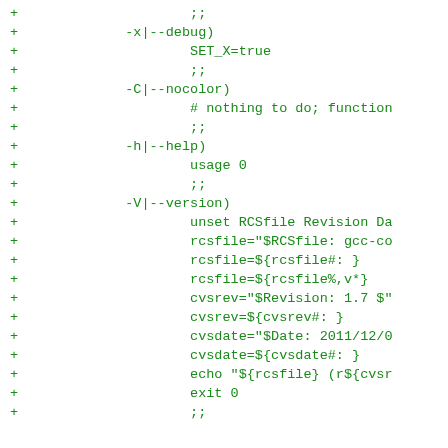+ ;;
+ -x|--debug)
+ SET_X=true
+ ;;
+ -C|--nocolor)
+ # nothing to do; function
+ ;;
+ -h|--help)
+ usage 0
+ ;;
+ -V|--version)
+ unset RCSfile Revision Da
+ rcsfile="$RCSfile: gcc-co
+ rcsfile=${rcsfile#: }
+ rcsfile=${rcsfile%,v*}
+ cvsrev="$Revision: 1.7 $"
+ cvsrev=${cvsrev#: }
+ cvsdate="$Date: 2011/12/0
+ cvsdate=${cvsdate#: }
+ echo "${rcsfile} (r${cvsr
+ exit 0
+ ;;